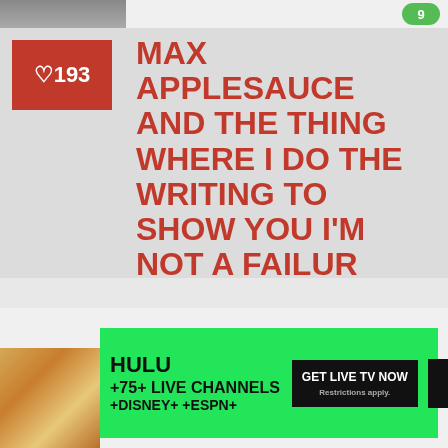[Figure (photo): Partial animal photo at top left, cropped]
MAX APPLESAUCE AND THE THING WHERE I DO THE WRITING TO SHOW YOU I'M NOT A FAILUR
MAX APPLESAUCE HERE AND I AM NEWLY AVAILABLE FOR HIRE FOR ALL YOUR WRITING AND JUMPKICKING NEEDS SHOULD THOSE NEEDS ARISE AT SOME POINT IN TIME!!! THANKS TO A TOTALLY BOGUS LAWSUIT ABOUT BESTIALITY-INDUCED MASSIVE SCALE PROPERTY DAMAGE...
[Figure (screenshot): Hulu advertisement banner: HULU +75+ LIVE CHANNELS +DISNEY+ +ESPN+ with GET LIVE TV NOW button and Hulu + LIVE TV logo, on green background, with small dog photo at left]
[Figure (photo): Small fluffy dog (Pomeranian) photo in bottom left of ad]